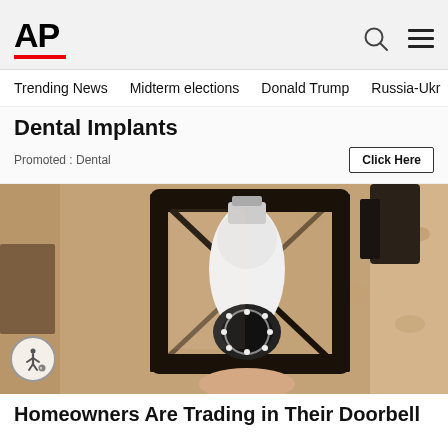AP
Trending News   Midterm elections   Donald Trump   Russia-Ukr
Dental Implants
Promoted : Dental
[Figure (photo): A security camera shaped like a light bulb installed inside a black outdoor lantern wall fixture, mounted on a textured stucco wall.]
Homeowners Are Trading in Their Doorbell